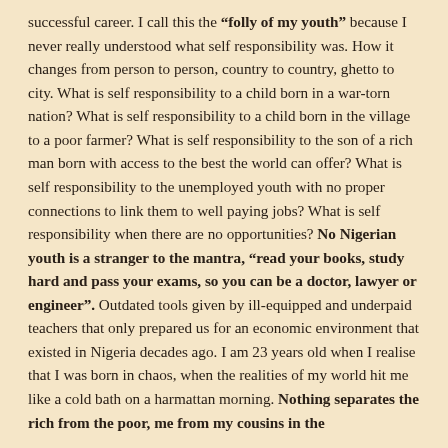successful career. I call this the "folly of my youth" because I never really understood what self responsibility was. How it changes from person to person, country to country, ghetto to city. What is self responsibility to a child born in a war-torn nation? What is self responsibility to a child born in the village to a poor farmer? What is self responsibility to the son of a rich man born with access to the best the world can offer? What is self responsibility to the unemployed youth with no proper connections to link them to well paying jobs? What is self responsibility when there are no opportunities? No Nigerian youth is a stranger to the mantra, "read your books, study hard and pass your exams, so you can be a doctor, lawyer or engineer". Outdated tools given by ill-equipped and underpaid teachers that only prepared us for an economic environment that existed in Nigeria decades ago. I am 23 years old when I realise that I was born in chaos, when the realities of my world hit me like a cold bath on a harmattan morning. Nothing separates the rich from the poor, me from my cousins in the